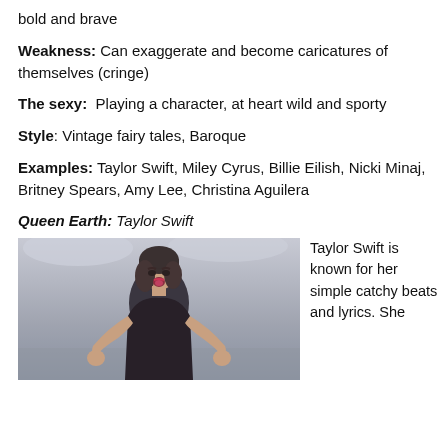bold and brave
Weakness: Can exaggerate and become caricatures of themselves (cringe)
The sexy: Playing a character, at heart wild and sporty
Style: Vintage fairy tales, Baroque
Examples: Taylor Swift, Miley Cyrus, Billie Eilish, Nicki Minaj, Britney Spears, Amy Lee, Christina Aguilera
Queen Earth: Taylor Swift
[Figure (photo): Photo of Taylor Swift performing or posing, shown from waist up against a light background]
Taylor Swift is known for her simple catchy beats and lyrics. She